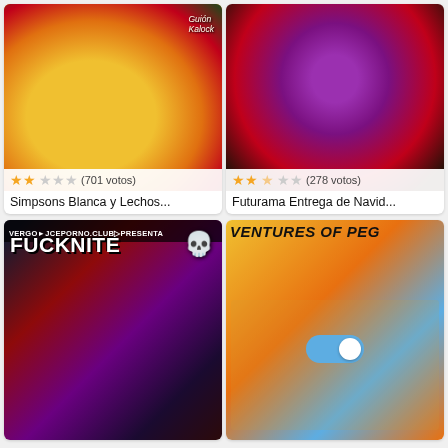[Figure (illustration): Animated Simpsons Christmas-themed adult illustration with yellow characters, candy cane stockings, and Christmas tree. Rating bar shows 2 filled stars out of 5, (701 votos).]
[Figure (illustration): Animated Futurama Christmas-themed adult illustration with purple-haired character and male character in red outfit. Rating bar shows 2.5 filled stars out of 5, (278 votos).]
Simpsons Blanca y Lechos...
Futurama Entrega de Navid...
[Figure (illustration): Dark video game themed adult illustration with 'FUCKNITE' title text, skull character, and female character. Site banner at top.]
[Figure (illustration): Animated 'VENTURES OF PEG' title with brown-haired woman in pink outfit and partially shown second character. Toggle/switch UI overlay visible.]